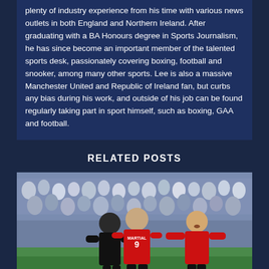plenty of industry experience from his time with various news outlets in both England and Northern Ireland. After graduating with a BA Honours degree in Sports Journalism, he has since become an important member of the talented sports desk, passionately covering boxing, football and snooker, among many other sports. Lee is also a massive Manchester United and Republic of Ireland fan, but curbs any bias during his work, and outside of his job can be found regularly taking part in sport himself, such as boxing, GAA and football.
RELATED POSTS
[Figure (photo): Manchester United players celebrating on a football pitch, with Martial (#9) being hugged by a teammate, and another player in red celebrating nearby, with a crowd in the background]